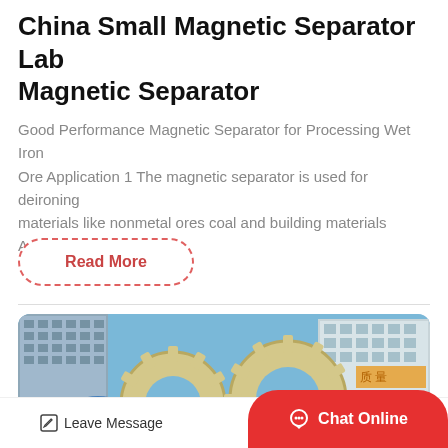China Small Magnetic Separator Lab Magnetic Separator
Good Performance Magnetic Separator for Processing Wet Iron Ore Application 1 The magnetic separator is used for deironing materials like nonmetal ores coal and building materials Avera…
Read More
[Figure (photo): Outdoor industrial sculpture or display featuring large gear/cog shapes in beige/cream color and blue elements, with modern buildings in background and Chinese signage visible.]
Leave Message
Chat Online